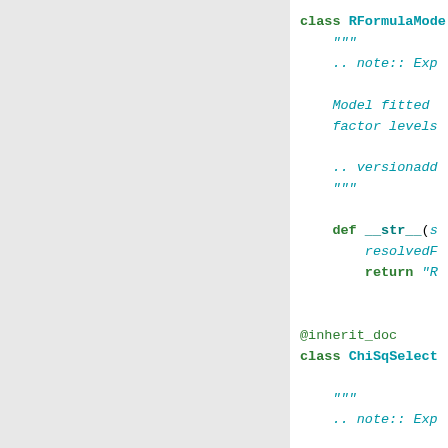[Figure (screenshot): Source code screenshot showing Python class definitions: RFormulaModel and ChiSqSelector with docstrings and method definitions, rendered in a code editor style with teal/green syntax highlighting on white background, left panel is grey.]